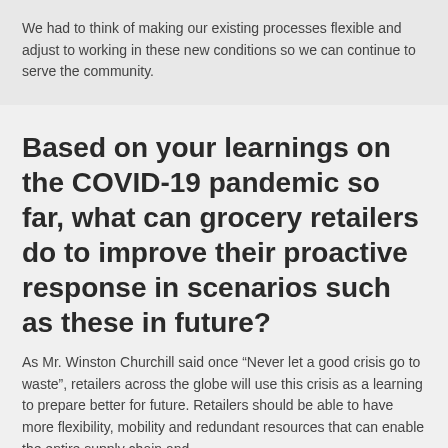We had to think of making our existing processes flexible and adjust to working in these new conditions so we can continue to serve the community.
Based on your learnings on the COVID-19 pandemic so far, what can grocery retailers do to improve their proactive response in scenarios such as these in future?
As Mr. Winston Churchill said once “Never let a good crisis go to waste”, retailers across the globe will use this crisis as a learning to prepare better for future. Retailers should be able to have more flexibility, mobility and redundant resources that can enable the entire supply chain and